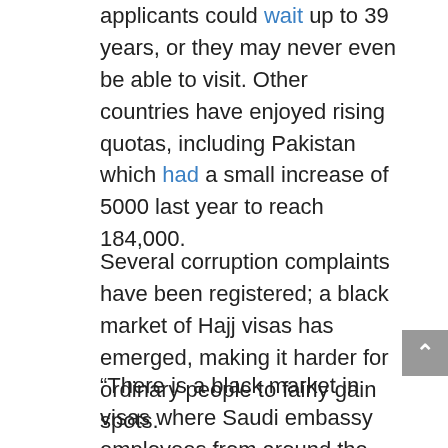applicants could wait up to 39 years, or they may never even be able to visit. Other countries have enjoyed rising quotas, including Pakistan which had a small increase of 5000 last year to reach 184,000.
Several corruption complaints have been registered; a black market of Hajj visas has emerged, making it harder for ordinary people to fairly gain spots.
“There is a black market in visas where Saudi embassy employees from around the world sell visas illegally and give them to their friends,” said Madawi al-Rasheed, a Saudi academic based at the London School of Economics. “They have